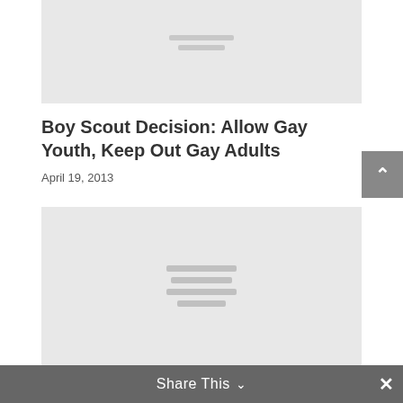[Figure (other): Placeholder image box at top of article, light gray background with gray horizontal lines in center]
Boy Scout Decision: Allow Gay Youth, Keep Out Gay Adults
April 19, 2013
[Figure (other): Placeholder image box in lower portion of article, light gray background with gray horizontal lines in center]
Share This  ×